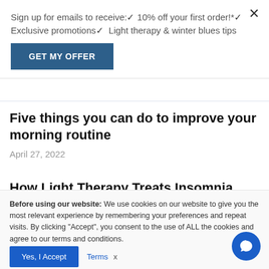Sign up for emails to receive:✔ 10% off your first order!*✔ Exclusive promotions✔ Light therapy & winter blues tips
GET MY OFFER
Five things you can do to improve your morning routine
April 27, 2022
How Light Therapy Treats Insomnia
March 7, 2022
Before using our website: We use cookies on our website to give you the most relevant experience by remembering your preferences and repeat visits. By clicking "Accept", you consent to the use of ALL the cookies and agree to our terms and conditions.
Yes, I Accept   Terms   x